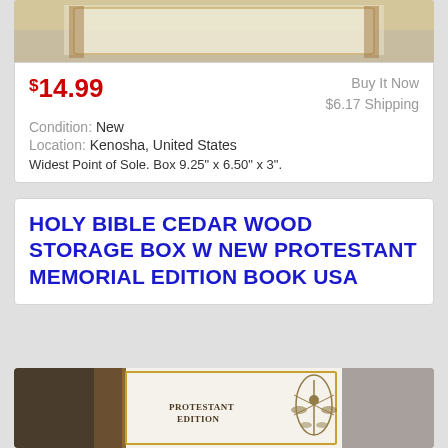[Figure (photo): Product photo of a shoe box or decorative item, partial view at top of page]
$14.99
Buy It Now
$6.17 Shipping
Condition: New
Location: Kenosha, United States
Widest Point of Sole. Box 9.25" x 6.50" x 3".
HOLY BIBLE CEDAR WOOD STORAGE BOX W NEW PROTESTANT MEMORIAL EDITION BOOK USA
[Figure (photo): Photo of an open Holy Bible Protestant Edition book in a cedar wood storage box, showing the white pages with a gold floral decorative illustration and the text PROTESTANT EDITION on the page]